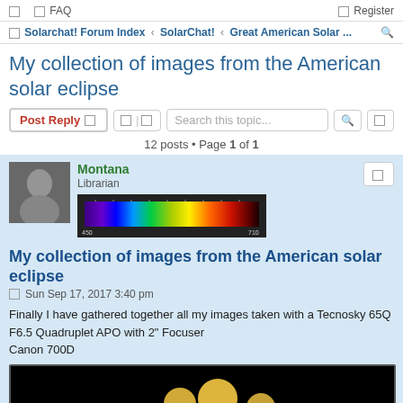FAQ  Register
Solarchat! Forum Index › SolarChat! › Great American Solar ...
My collection of images from the American solar eclipse
Post Reply   Search this topic...
12 posts • Page 1 of 1
Montana
Librarian
[Figure (photo): User avatar photo of Montana in black and white]
[Figure (photo): Spectrum bar showing visible light wavelengths from violet to red/dark]
My collection of images from the American solar eclipse
Sun Sep 17, 2017 3:40 pm
Finally I have gathered together all my images taken with a Tecnosky 65Q F6.5 Quadruplet APO with 2" Focuser
Canon 700D
[Figure (photo): Eclipse image showing glowing orbs on black background]